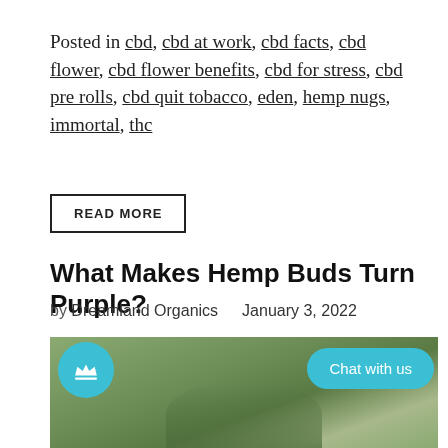Posted in cbd, cbd at work, cbd facts, cbd flower, cbd flower benefits, cbd for stress, cbd pre rolls, cbd quit tobacco, eden, hemp nugs, immortal, thc
READ MORE
What Makes Hemp Buds Turn Purple?
by Dreamland Organics  January 3, 2022
[Figure (photo): Close-up photo of hemp plant buds with green foliage]